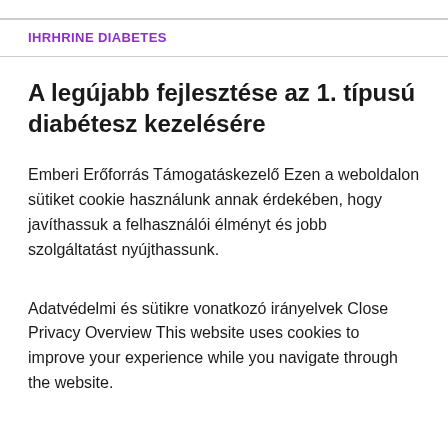IHRHRINE DIABETES
A legújabb fejlesztése az 1. típusú diabétesz kezelésére
Emberi Erőforrás Támogatáskezelő Ezen a weboldalon sütiket cookie használunk annak érdekében, hogy javíthassuk a felhasználói élményt és jobb szolgáltatást nyújthassunk.
Adatvédelmi és sütikre vonatkozó irányelvek Close Privacy Overview This website uses cookies to improve your experience while you navigate through the website.